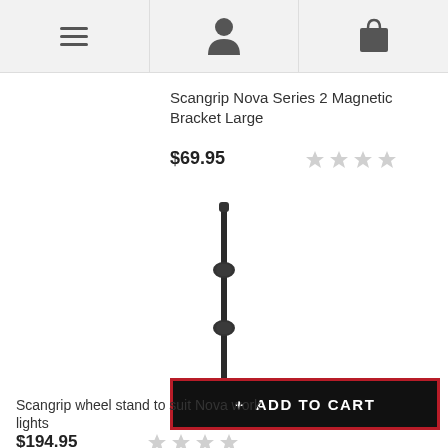Navigation bar with menu, user, and cart icons
Scangrip Nova Series 2 Magnetic Bracket Large
$69.95
[Figure (photo): Scangrip wheel stand product photo on white background — a tall adjustable pole with two locking knobs, mounted on a four-wheeled base.]
+ ADD TO CART
Scangrip wheel stand to suit Nova work lights
$194.95